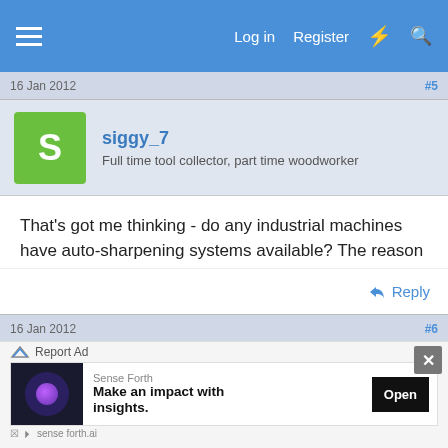Log in  Register
16 Jan 2012  #5
siggy_7
Full time tool collector, part time woodworker
That's got me thinking - do any industrial machines have auto-sharpening systems available? The reason being that forage harvesters have auto-sharpening blade systems - with the chopping cylinder turning and engine throttled back, a ram pushes a sharpening stone across the blades. An unfilled niche if no-one else has done it yet!
Reply
16 Jan 2012  #6
Report Ad
Sense Forth
Make an impact with insights.
Open